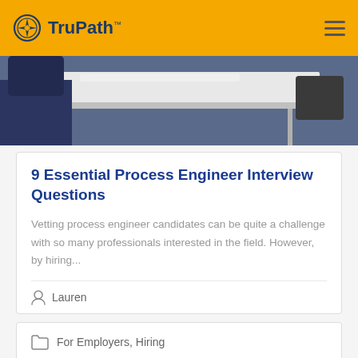TruPath
[Figure (photo): Interview scene with person in dark jacket sitting at a white desk with office chairs in background]
9 Essential Process Engineer Interview Questions
Vetting process engineer candidates can be quite a challenge with so many professionals interested in the field. However, by hiring...
Lauren
For Employers, Hiring